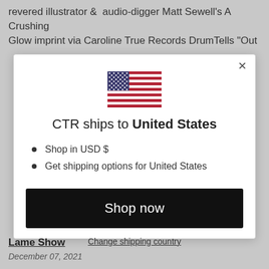revered illustrator &  audio-digger Matt Sewell's A Crushing Glow imprint via Caroline True Records DrumTells "Out
[Figure (illustration): US flag emoji/icon centered in modal dialog]
CTR ships to United States
Shop in USD $
Get shipping options for United States
Shop now
Change shipping country
Lame Show
December 07, 2021